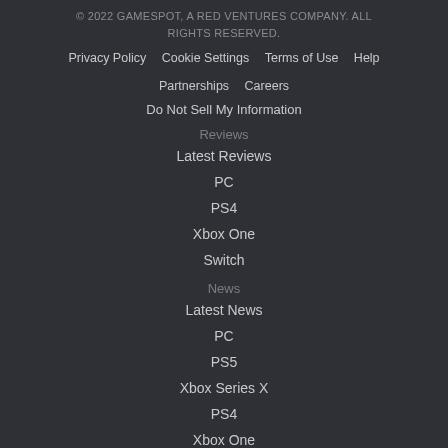© 2022 GAMESPOT, A RED VENTURES COMPANY. ALL RIGHTS RESERVED.
Privacy Policy | Cookie Settings | Terms of Use | Help | Partnerships | Careers
Do Not Sell My Information
Reviews
Latest Reviews
PC
PS4
Xbox One
Switch
News
Latest News
PC
PS5
Xbox Series X
PS4
Xbox One
Switch